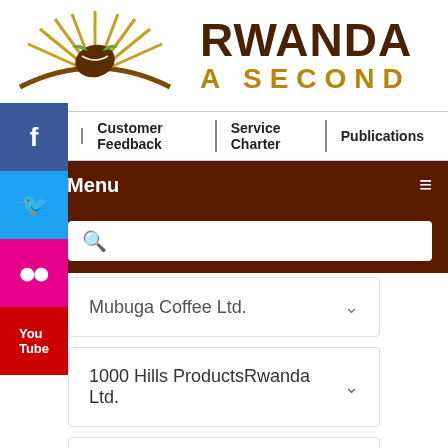[Figure (logo): Rwanda coffee logo with sun rays and coffee bean]
RWANDA A SECOND
Webmail | Customer Feedback | Service Charter | Publications
Main Menu
Mubuga Coffee Ltd.
1000 Hills ProductsRwanda Ltd.
Mountain Coffee Ltd.
Kigasali General Supply Ltd.